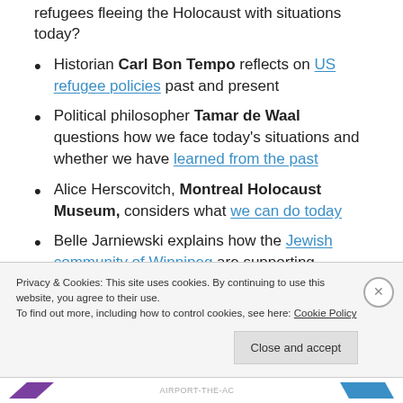refugees fleeing the Holocaust with situations today?
Historian Carl Bon Tempo reflects on US refugee policies past and present
Political philosopher Tamar de Waal questions how we face today's situations and whether we have learned from the past
Alice Herscovitch, Montreal Holocaust Museum, considers what we can do today
Belle Jarniewski explains how the Jewish community of Winnipeg are supporting Yazidis
Privacy & Cookies: This site uses cookies. By continuing to use this website, you agree to their use. To find out more, including how to control cookies, see here: Cookie Policy
Close and accept